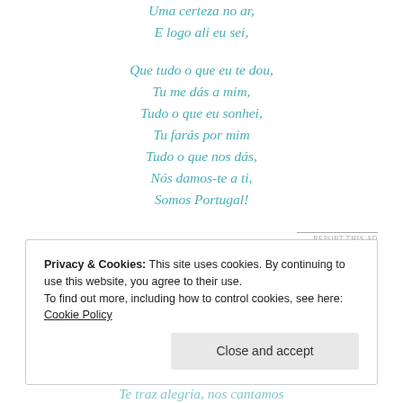Uma certeza no ar,
E logo ali eu sei,
Que tudo o que eu te dou,
Tu me dás a mim,
Tudo o que eu sonhei,
Tu farás por mim
Tudo o que nos dás,
Nós damos-te a ti,
Somos Portugal!
REPORT THIS AD
Privacy & Cookies: This site uses cookies. By continuing to use this website, you agree to their use.
To find out more, including how to control cookies, see here: Cookie Policy
Close and accept
Te traz alegria, nos cantamos